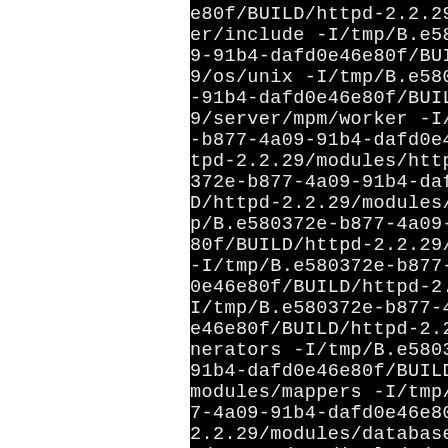e80f/BUILD/httpd-2.2.29/b
er/include -I/tmp/B.e5803
9-91b4-dafd0e46e80f/BUILD/
9/os/unix -I/tmp/B.e58037
-91b4-dafd0e46e80f/BUILD/h
9/server/mpm/worker -I/tmp
-b877-4a09-91b4-dafd0e46e8
tpd-2.2.29/modules/http -I
372e-b877-4a09-91b4-dafd0e
D/httpd-2.2.29/modules/fi
p/B.e580372e-b877-4a09-91b
80f/BUILD/httpd-2.2.29/mod
-I/tmp/B.e580372e-b877-4a0
0e46e80f/BUILD/httpd-2.2.
I/tmp/B.e580372e-b877-4a09
e46e80f/BUILD/httpd-2.2.29
nerators -I/tmp/B.e580372e
91b4-dafd0e46e80f/BUILD/ht
modules/mappers -I/tmp/B.e
7-4a09-91b4-dafd0e46e80f/B
2.2.29/modules/database -I
e/apr -I/usr/include/apr-u
include -I/tmp/B.e580372e-
1b4-dafd0e46e80f/BUILD/ht